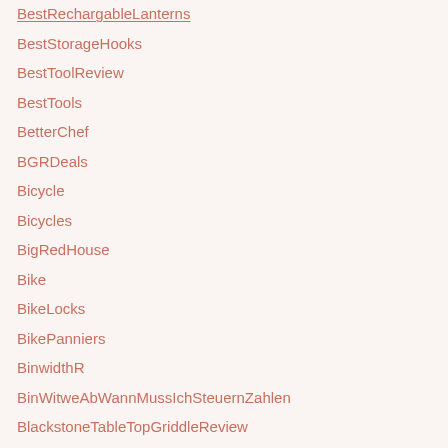BestRechargableLanterns
BestStorageHooks
BestToolReview
BestTools
BetterChef
BGRDeals
Bicycle
Bicycles
BigRedHouse
Bike
BikeLocks
BikePanniers
BinwidthR
BinWitweAbWannMussIchSteuernZahlen
BlackstoneTableTopGriddleReview